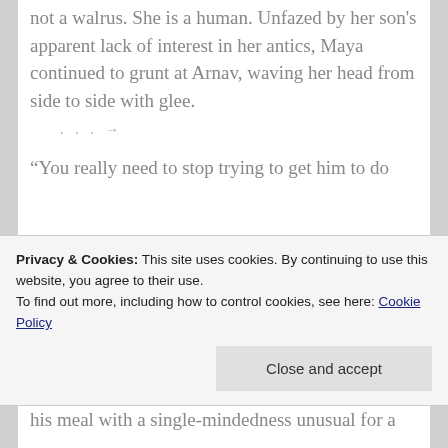not a walrus. She is a human. Unfazed by her son's apparent lack of interest in her antics, Maya continued to grunt at Arnav, waving her head from side to side with glee.
. . . →
“You really need to stop trying to get him to do
Privacy & Cookies: This site uses cookies. By continuing to use this website, you agree to their use.
To find out more, including how to control cookies, see here: Cookie Policy
his meal with a single-mindedness unusual for a